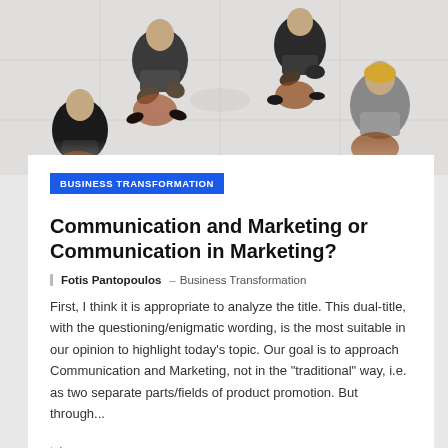[Figure (photo): Aerial/top-down view of business people sitting in chairs in a meeting circle, viewed from above, on a light tiled floor]
BUSINESS TRANSFORMATION
Communication and Marketing or Communication in Marketing?
Fotis Pantopoulos – Business Transformation
First, I think it is appropriate to analyze the title. This dual-title, with the questioning/enigmatic wording, is the most suitable in our opinion to highlight today's topic. Our goal is to approach Communication and Marketing, not in the "traditional" way, i.e. as two separate parts/fields of product promotion. But through...